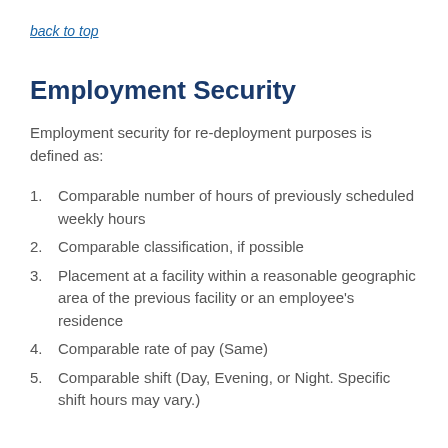back to top
Employment Security
Employment security for re-deployment purposes is defined as:
Comparable number of hours of previously scheduled weekly hours
Comparable classification, if possible
Placement at a facility within a reasonable geographic area of the previous facility or an employee's residence
Comparable rate of pay (Same)
Comparable shift (Day, Evening, or Night. Specific shift hours may vary.)